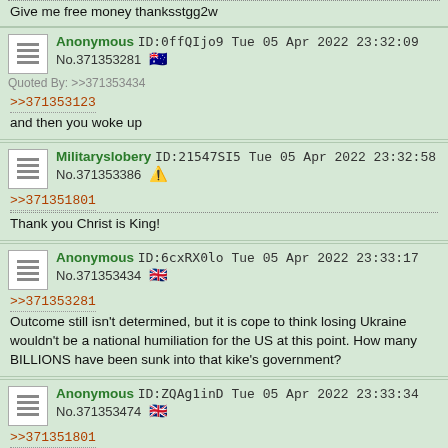Give me free money thanksstgg2w
Anonymous ID:0ffQIjo9 Tue 05 Apr 2022 23:32:09 No.371353281 🇦🇺
Quoted By: >>371353434
>>371353123
and then you woke up
Militaryslobery ID:21547SI5 Tue 05 Apr 2022 23:32:58 No.371353386 🗡️
>>371351801
Thank you Christ is King!
Anonymous ID:6cxRX0lo Tue 05 Apr 2022 23:33:17 No.371353434 🇬🇧
>>371353281
Outcome still isn't determined, but it is cope to think losing Ukraine wouldn't be a national humiliation for the US at this point. How many BILLIONS have been sunk into that kike's government?
Anonymous ID:ZQAg1inD Tue 05 Apr 2022 23:33:34 No.371353474 🇬🇧
>>371351801
Should have started this 8 years ago